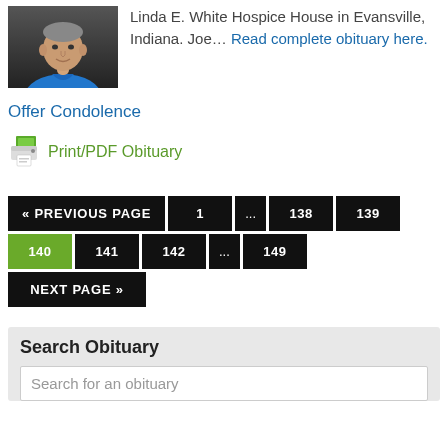[Figure (photo): Portrait photo of a man in a blue polo shirt against a dark background]
Linda E. White Hospice House in Evansville, Indiana. Joe… Read complete obituary here.
Offer Condolence
Print/PDF Obituary
« PREVIOUS PAGE  1  ...  138  139  140  141  142  ...  149  NEXT PAGE »
Search Obituary
Search for an obituary